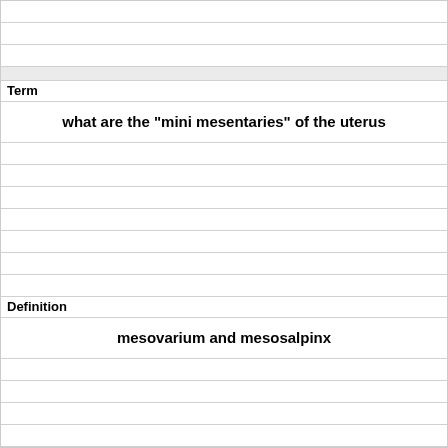| Term | Definition |
| --- | --- |
| what are the "mini mesentaries" of the uterus | mesovarium and mesosalpinx |